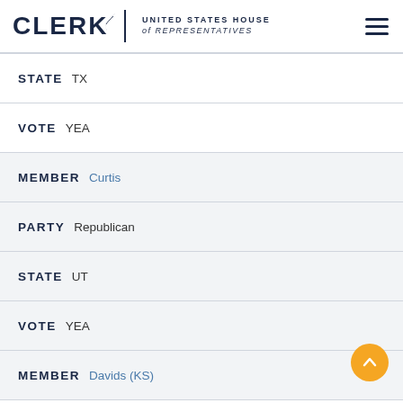CLERK United States House of Representatives
STATE TX
VOTE YEA
MEMBER Curtis
PARTY Republican
STATE UT
VOTE YEA
MEMBER Davids (KS)